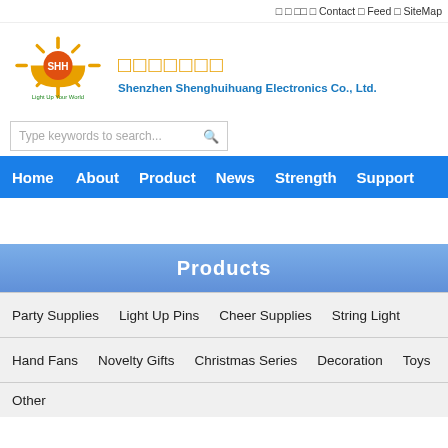□ □ □□ □ Contact □ Feed □ SiteMap
[Figure (logo): SHH sun logo with text 'Light Up Your World']
□□□□□□□ — Shenzhen Shenghuihuang Electronics Co., Ltd.
Type keywords to search...
Home   About   Product   News   Strength   Support
Products
Party Supplies   Light Up Pins   Cheer Supplies   String Light
Hand Fans   Novelty Gifts   Christmas Series   Decoration   Toys
Other